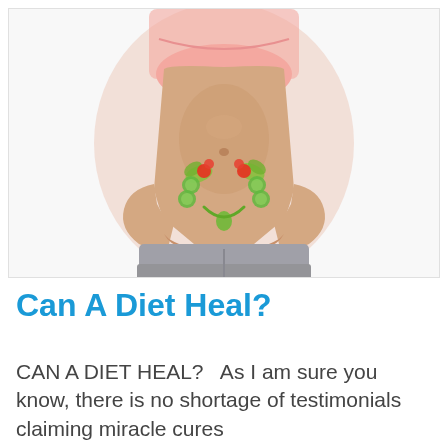[Figure (photo): Photo of a woman's torso wearing a pink sports bra and grey athletic pants, holding a heart shape made of vegetables (cucumber slices, tomatoes, lettuce) on her stomach area against a white background.]
Can A Diet Heal?
CAN A DIET HEAL?   As I am sure you know, there is no shortage of testimonials claiming miracle cures